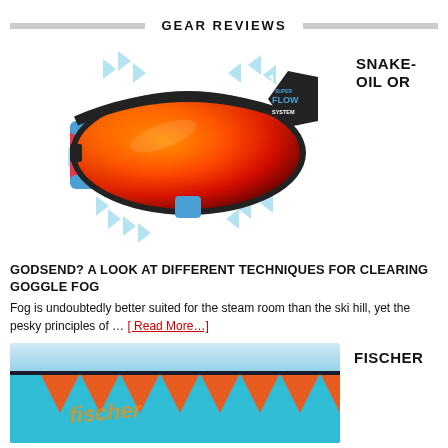GEAR REVIEWS
[Figure (photo): Julbo ski goggle with red/orange mirrored lens and blue/red strap, with Super Flow System badge and blue airflow arrows around it]
SNAKE-OIL OR
GODSEND? A LOOK AT DIFFERENT TECHNIQUES FOR CLEARING GOGGLE FOG
Fog is undoubtedly better suited for the steam room than the ski hill, yet the pesky principles of ... [Read More...]
[Figure (photo): Fischer ski or snowboard with teal/blue base and orange geometric triangular graphic pattern]
FISCHER